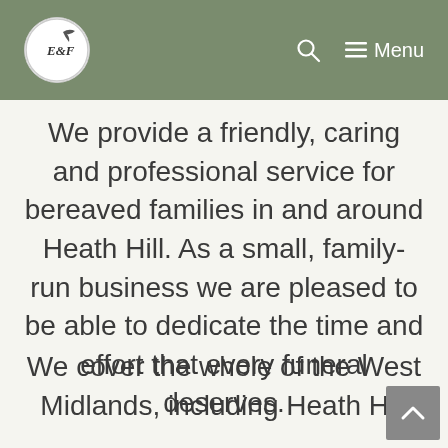E&F Menu
We provide a friendly, caring and professional service for bereaved families in and around Heath Hill. As a small, family-run business we are pleased to be able to dedicate the time and effort that every funeral deserves.
We cover the whole of the West Midlands, including Heath Hill